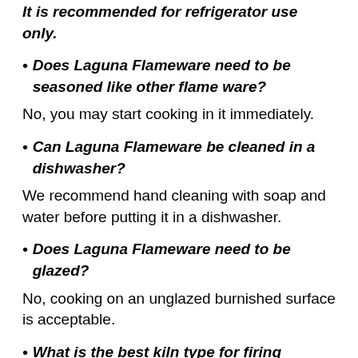• Does Laguna Flameware need to be seasoned like other flame ware?
No, you may start cooking in it immediately.
• Can Laguna Flameware be cleaned in a dishwasher?
We recommend hand cleaning with soap and water before putting it in a dishwasher.
• Does Laguna Flameware need to be glazed?
No, cooking on an unglazed burnished surface is acceptable.
• What is the best kiln type for firing Laguna Flameware?